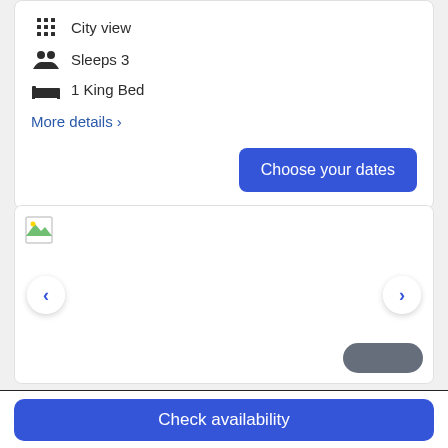City view
Sleeps 3
1 King Bed
More details >
Choose your dates
[Figure (photo): Hotel room image carousel with broken image placeholder, left and right navigation arrows, and a partially visible dark button in the bottom right]
Check availability